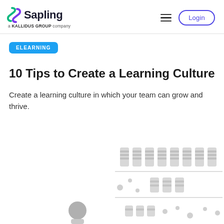Sapling a KALLIDUS GROUP company — Login
ELEARNING
10 Tips to Create a Learning Culture
Create a learning culture in which your team can grow and thrive.
[Figure (illustration): Decorative illustration showing a person figure with bar chart/data visualization elements in light gray, partially visible at the bottom of the page.]